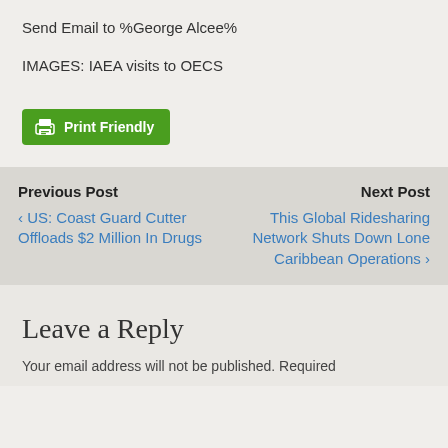Send Email to %George Alcee%
IMAGES: IAEA visits to OECS
[Figure (other): Green Print Friendly button with printer icon]
Previous Post
‹ US: Coast Guard Cutter Offloads $2 Million In Drugs
Next Post
This Global Ridesharing Network Shuts Down Lone Caribbean Operations ›
Leave a Reply
Your email address will not be published. Required